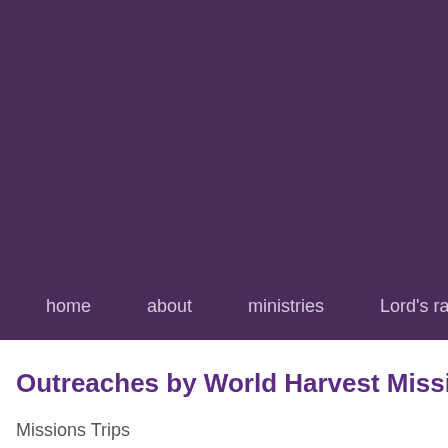[Figure (other): Purple header background area filling the top portion of the page]
home    about    ministries    Lord's ra
Outreaches by World Harvest Missio
Missions Trips